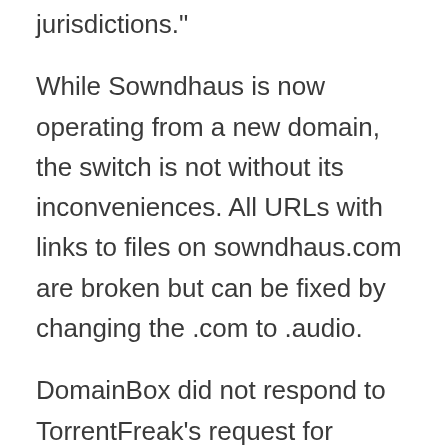jurisdictions."
While Sowndhaus is now operating from a new domain, the switch is not without its inconveniences. All URLs with links to files on sowndhaus.com are broken but can be fixed by changing the .com to .audio.
DomainBox did not respond to TorrentFreak’s request for comment.
< Next Post    Previous Post >
Tagged In:
IFPI Sowndhaus